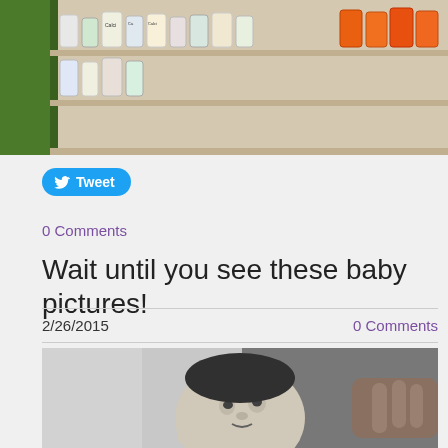[Figure (photo): Photo of pharmacy/store shelves with various baby products and bottles arranged in rows]
Tweet
0 Comments
Wait until you see these baby pictures!
2/26/2015
0 Comments
[Figure (photo): Black and white photo of a newborn baby looking up, held by an adult's hands]